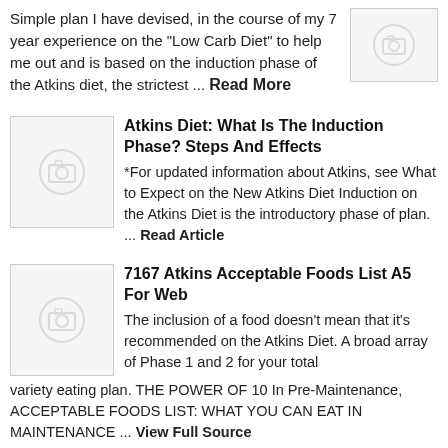Simple plan I have devised, in the course of my 7 year experience on the "Low Carb Diet" to help me out and is based on the induction phase of the Atkins diet, the strictest ... Read More
[Figure (photo): Placeholder image with camera icon]
Atkins Diet: What Is The Induction Phase? Steps And Effects
*For updated information about Atkins, see What to Expect on the New Atkins Diet Induction on the Atkins Diet is the introductory phase of plan. ... Read Article
[Figure (photo): Placeholder image with camera icon]
7167 Atkins Acceptable Foods List A5 For Web
The inclusion of a food doesn't mean that it's recommended on the Atkins Diet. A broad array of Phase 1 and 2 for your total variety eating plan. THE POWER OF 10 In Pre-Maintenance, ACCEPTABLE FOODS LIST: WHAT YOU CAN EAT IN MAINTENANCE ... View Full Source
[Figure (photo): Placeholder image with camera icon]